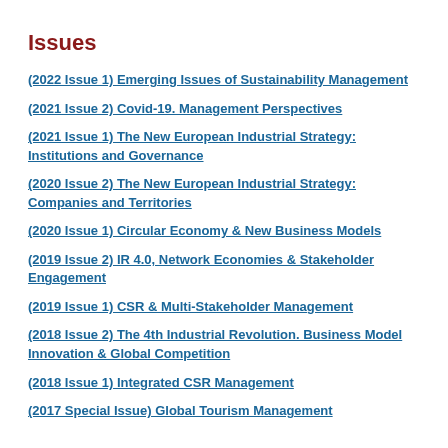Issues
(2022 Issue 1) Emerging Issues of Sustainability Management
(2021 Issue 2) Covid-19. Management Perspectives
(2021 Issue 1) The New European Industrial Strategy: Institutions and Governance
(2020 Issue 2) The New European Industrial Strategy: Companies and Territories
(2020 Issue 1) Circular Economy & New Business Models
(2019 Issue 2) IR 4.0, Network Economies & Stakeholder Engagement
(2019 Issue 1) CSR & Multi-Stakeholder Management
(2018 Issue 2) The 4th Industrial Revolution. Business Model Innovation & Global Competition
(2018 Issue 1) Integrated CSR Management
(2017 Special Issue) Global Tourism Management